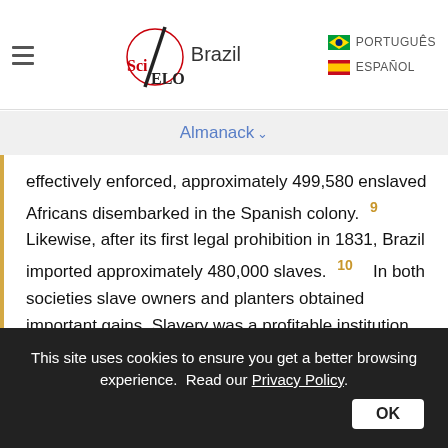SciELO Brazil | PORTUGUÊS | ESPAÑOL
Almanack
effectively enforced, approximately 499,580 enslaved Africans disembarked in the Spanish colony. 9 Likewise, after its first legal prohibition in 1831, Brazil imported approximately 480,000 slaves. 10 In both societies slave owners and planters obtained important gains. Slavery was a profitable institution that greatly contributed to the development of capitalism in Europe and the Americas during the nineteenth century. Because slavery was a lucrative institution, Brazilian ad Cuban slave owners and planters greatly resisted the end of slavery. 11 Such opposition led to the
This site uses cookies to ensure you get a better browsing experience. Read our Privacy Policy. OK